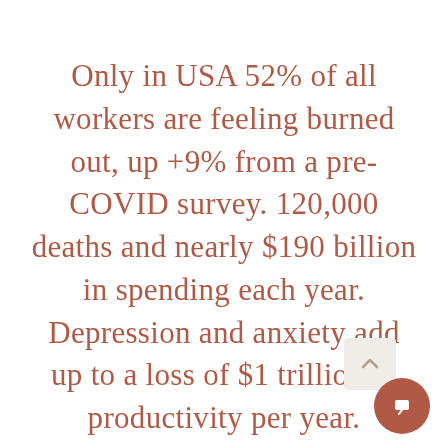Only in USA 52% of all workers are feeling burned out, up +9% from a pre-COVID survey. 120,000 deaths and nearly $190 billion in spending each year. Depression and anxiety add up to a loss of $1 trillion in productivity per year.